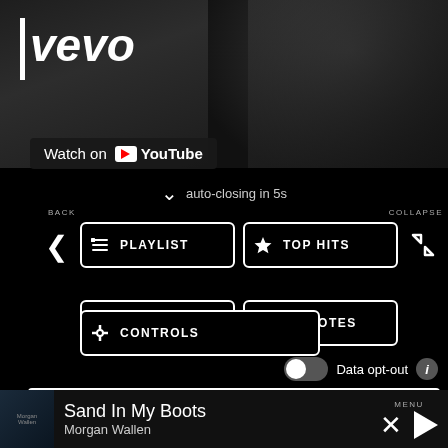[Figure (screenshot): Vevo music video thumbnail with dark background showing partial face]
Watch on YouTube
auto-closing in 5s
BACK
COLLAPSE
PLAYLIST
TOP HITS
LISTEN LIVE
MY VOTES
CONTROLS
Data opt-out
Best Virginia Music Festival
Appaloosa Music Festival
Sand In My Boots
Morgan Wallen
MENU